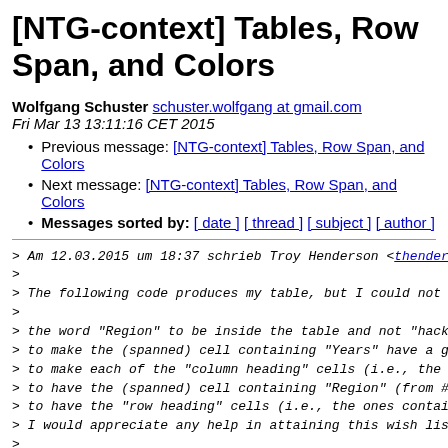[NTG-context] Tables, Row Span, and Colors
Wolfgang Schuster schuster.wolfgang at gmail.com
Fri Mar 13 13:11:16 CET 2015
Previous message: [NTG-context] Tables, Row Span, and Colors
Next message: [NTG-context] Tables, Row Span, and Colors
Messages sorted by: [ date ] [ thread ] [ subject ] [ author ]
> Am 12.03.2015 um 18:37 schrieb Troy Henderson <thenders
>
> The following code produces my table, but I could not g
>
> the word "Region" to be inside the table and not "hacke
> to make the (spanned) cell containing "Years" have a gr
> to make each of the "column heading" cells (i.e., the c
> to have the (spanned) cell containing "Region" (from #1
> to have the "row heading" cells (i.e., the ones containi
> I would appreciate any help in attaining this wish list
>
You can use natural tables or xtables to achieve this lay